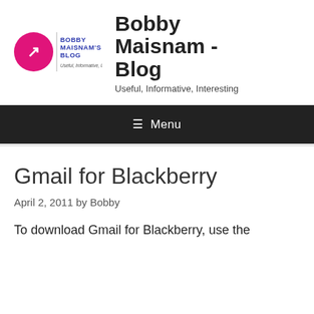[Figure (logo): Bobby Maisnam's Blog logo: pink circle with white arrow, text 'BOBBY MAISNAM'S BLOG' in blue, tagline 'Useful, Informative, Interesting']
Bobby Maisnam - Blog
Useful, Informative, Interesting
≡ Menu
Gmail for Blackberry
April 2, 2011 by Bobby
To download Gmail for Blackberry, use the